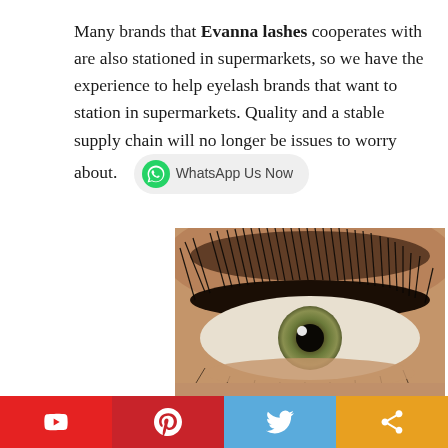Many brands that Evanna lashes cooperates with are also stationed in supermarkets, so we have the experience to help eyelash brands that want to station in supermarkets. Quality and a stable supply chain will no longer be issues to worry about.
[Figure (photo): Close-up photo of a human eye with dramatic voluminous eyelash extensions, showing detailed lash strands over a green/hazel iris]
[Figure (infographic): Social media share buttons row: YouTube (red), Pinterest (dark red), Twitter (light blue), Share (orange)]